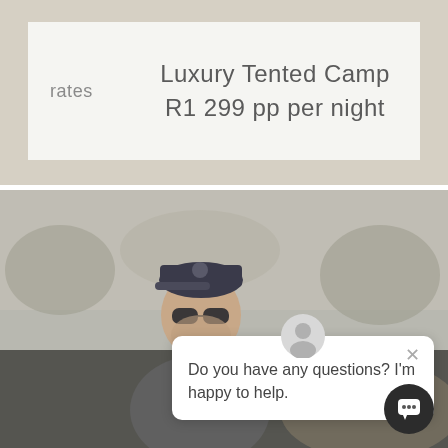rates
Luxury Tented Camp
R1 299 pp per night
[Figure (photo): Photo of a man wearing a dark baseball cap and sunglasses, dressed in a grey jacket, outdoors with an animal partially visible]
Do you have any questions? I'm happy to help.